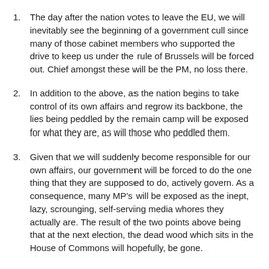The day after the nation votes to leave the EU, we will inevitably see the beginning of a government cull since many of those cabinet members who supported the drive to keep us under the rule of Brussels will be forced out. Chief amongst these will be the PM, no loss there.
In addition to the above, as the nation begins to take control of its own affairs and regrow its backbone, the lies being peddled by the remain camp will be exposed for what they are, as will those who peddled them.
Given that we will suddenly become responsible for our own affairs, our government will be forced to do the one thing that they are supposed to do, actively govern. As a consequence, many MP’s will be exposed as the inept, lazy, scrounging, self-serving media whores they actually are. The result of the two points above being that at the next election, the dead wood which sits in the House of Commons will hopefully, be gone.